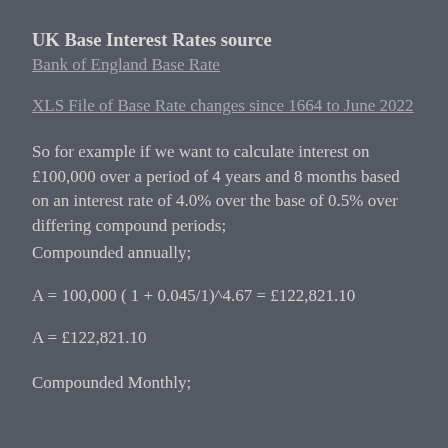UK Base Interest Rates source
Bank of England Base Rate
XLS File of Base Rate changes since 1664 to June 2022
So for example if we want to calculate interest on £100,000 over a period of 4 years and 8 months based on an interest rate of 4.0% over the base of 0.5% over differing compound periods;
Compounded annually;
Compounded Monthly;